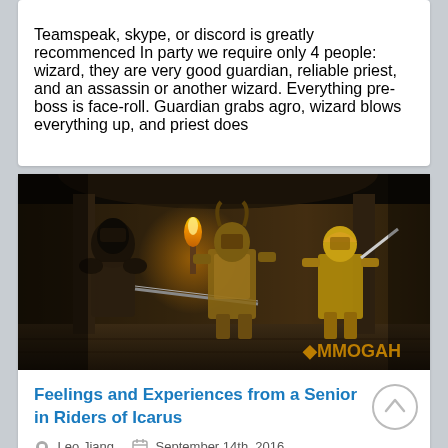Teamspeak, skype, or discord is greatly recommenced In party we require only 4 people: wizard, they are very good guardian, reliable priest, and an assassin or another wizard. Everything pre-boss is face-roll. Guardian grabs agro, wizard blows everything up, and priest does
[Figure (screenshot): Screenshot from a fantasy RPG game (Riders of Icarus or similar) showing armored characters in a dungeon with torchlight, with MMOGAH watermark in bottom right]
Feelings and Experiences from a Senior in Riders of Icarus
Leo Jiang   September 14th, 2016
In Riders of Icarus, different players have the different ideas about this game, and I will talk about some advices and hopefully it will make your game easier in this post and meanwhile we can share some useful